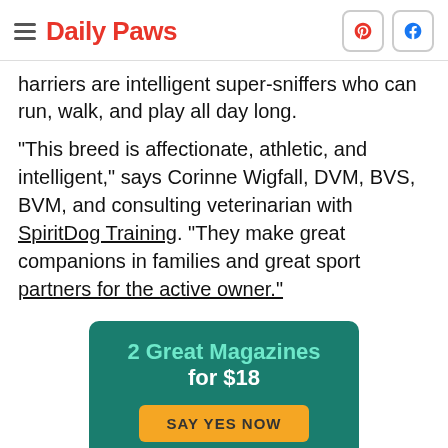Daily Paws
harriers are intelligent super-sniffers who can run, walk, and play all day long.
"This breed is affectionate, athletic, and intelligent," says Corinne Wigfall, DVM, BVS, BVM, and consulting veterinarian with SpiritDog Training. "They make great companions in families and great sport partners for the active owner."
[Figure (infographic): Advertisement banner: teal background with text '2 Great Magazines for $18' and an orange 'SAY YES NOW' button]